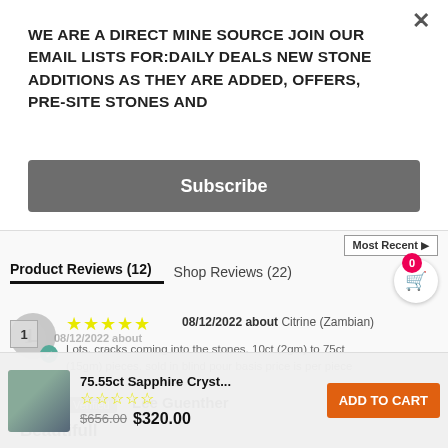WE ARE A DIRECT MINE SOURCE JOIN OUR EMAIL LISTS FOR:DAILY DEALS NEW STONE ADDITIONS AS THEY ARE ADDED, OFFERS, PRE-SITE STONES AND
Subscribe
Most Recent
Product Reviews (12)   Shop Reviews (22)
L
★★★★★ 08/12/2022 about Citrine (Zambian)
Lots. cracks coming into the stones. 10ct (2gm) to 75ct (15gm) pieces. sold in blind pour basis price is per piece
Verified  Lee Guenther
Beautifull
75.55ct Sapphire Cryst...  $656.00  $320.00
ADD TO CART